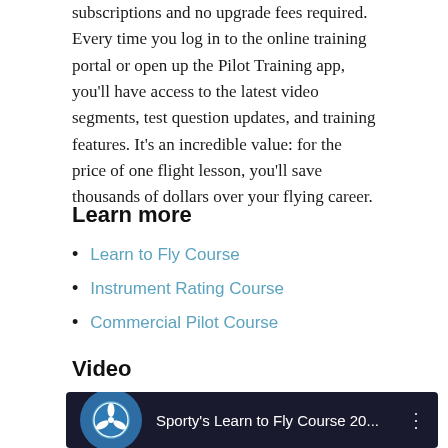subscriptions and no upgrade fees required. Every time you log in to the online training portal or open up the Pilot Training app, you'll have access to the latest video segments, test question updates, and training features. It's an incredible value: for the price of one flight lesson, you'll save thousands of dollars over your flying career.
Learn more
Learn to Fly Course
Instrument Rating Course
Commercial Pilot Course
Video
[Figure (screenshot): Video thumbnail showing Sporty's Learn to Fly Course 20... with a circular blue logo icon with a propeller/airplane symbol on the left, and a vertical three-dot menu icon on the right, on a dark background.]